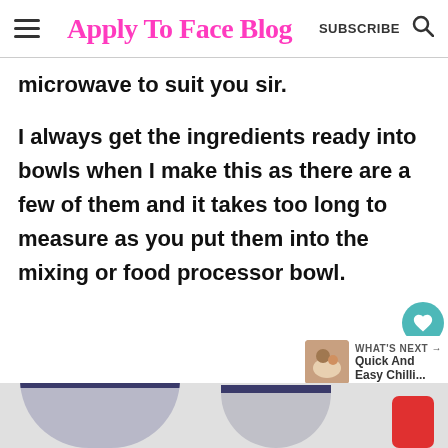Apply To Face Blog — SUBSCRIBE
microwave to suit you sir.
I always get the ingredients ready into bowls when I make this as there are a few of them and it takes too long to measure as you put them into the mixing or food processor bowl.
[Figure (infographic): Heart/like button showing 342 likes and a share button on the right side of the page]
WHAT'S NEXT → Quick And Easy Chilli...
[Figure (photo): Bottom portion showing blue mixing bowls and a red container on a light background]